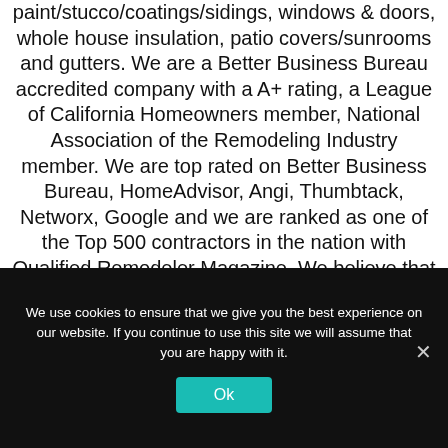paint/stucco/coatings/sidings, windows & doors, whole house insulation, patio covers/sunrooms and gutters. We are a Better Business Bureau accredited company with a A+ rating, a League of California Homeowners member, National Association of the Remodeling Industry member. We are top rated on Better Business Bureau, HomeAdvisor, Angi, Thumbtack, Networx, Google and we are ranked as one of the Top 500 contractors in the nation with Qualified Remodeler Magazine. We believe that
We use cookies to ensure that we give you the best experience on our website. If you continue to use this site we will assume that you are happy with it.